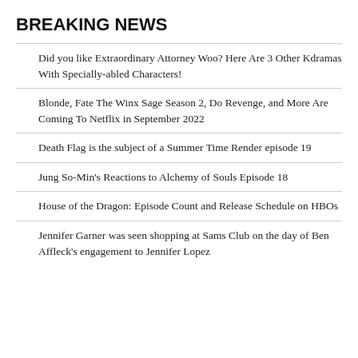BREAKING NEWS
Did you like Extraordinary Attorney Woo? Here Are 3 Other Kdramas With Specially-abled Characters!
Blonde, Fate The Winx Sage Season 2, Do Revenge, and More Are Coming To Netflix in September 2022
Death Flag is the subject of a Summer Time Render episode 19
Jung So-Min's Reactions to Alchemy of Souls Episode 18
House of the Dragon: Episode Count and Release Schedule on HBOs
Jennifer Garner was seen shopping at Sams Club on the day of Ben Affleck's engagement to Jennifer Lopez